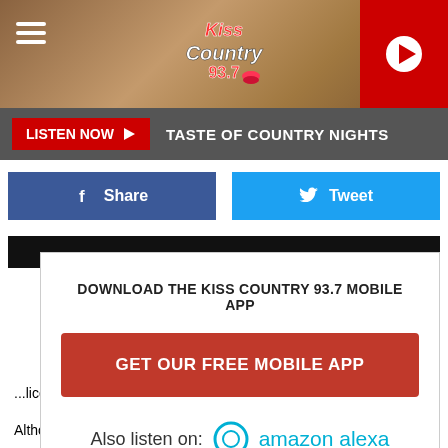[Figure (screenshot): Kiss Country 93.7 radio station header banner with textured brown background, hamburger menu icon on left, Kiss Country 93.7 logo in center, red play button on right]
LISTEN NOW ▶  TASTE OF COUNTRY NIGHTS
[Figure (infographic): Social sharing buttons: blue Facebook Share button and light blue Twitter Tweet button]
[Figure (infographic): Modal overlay: DOWNLOAD THE KISS COUNTRY 93.7 MOBILE APP with GET OUR FREE MOBILE APP red button and Also listen on: amazon alexa logo]
...licensed readers will get another month to catch on the program.
Although this program was originally designed for coll e s...